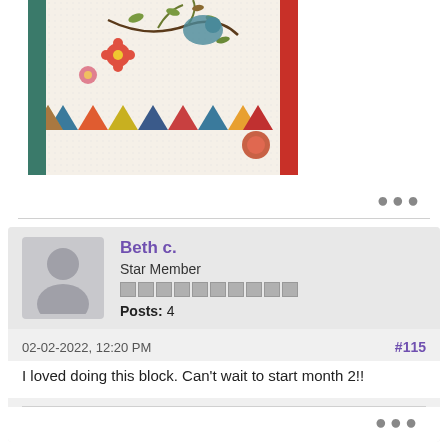[Figure (photo): A colorful quilt with floral and geometric triangle border pattern, appliquéd flowers and leaves on a white dotted background.]
Beth c.
Star Member
Posts: 4
02-02-2022, 12:20 PM
#115
I loved doing this block. Can't wait to start month 2!!